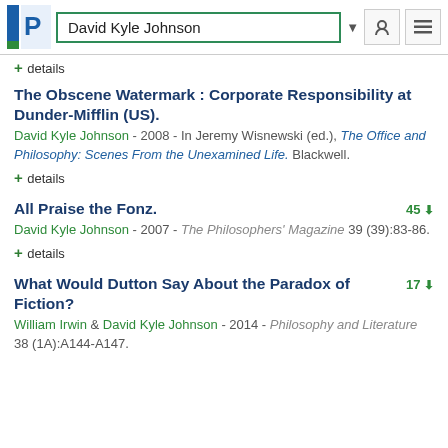David Kyle Johnson
+ details
The Obscene Watermark : Corporate Responsibility at Dunder-Mifflin (US).
David Kyle Johnson - 2008 - In Jeremy Wisnewski (ed.), The Office and Philosophy: Scenes From the Unexamined Life. Blackwell.
+ details
All Praise the Fonz.
David Kyle Johnson - 2007 - The Philosophers' Magazine 39 (39):83-86.
+ details
What Would Dutton Say About the Paradox of Fiction?
William Irwin & David Kyle Johnson - 2014 - Philosophy and Literature 38 (1A):A144-A147.